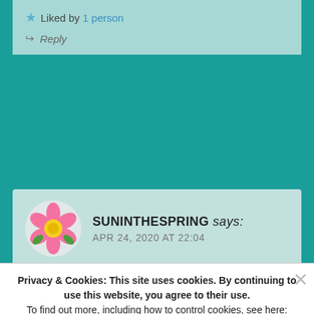★ Liked by 1 person
↪ Reply
SUNINTHESPRING says: APR 24, 2020 AT 22:04
Privacy & Cookies: This site uses cookies. By continuing to use this website, you agree to their use.
To find out more, including how to control cookies, see here: Cookie Policy
Close and accept